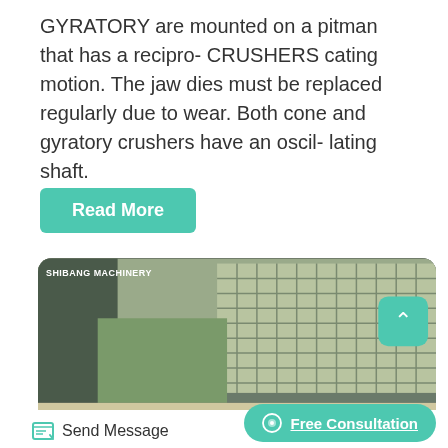GYRATORY are mounted on a pitman that has a recipro- CRUSHERS cating motion. The jaw dies must be replaced regularly due to wear. Both cone and gyratory crushers have an oscil- lating shaft.
Read More
[Figure (photo): Industrial machinery photo labeled 'SHIBANG MACHINERY' showing a conveyor/roller system in a factory setting with large grid-like wall panels in the background.]
Send Message
Free Consultation